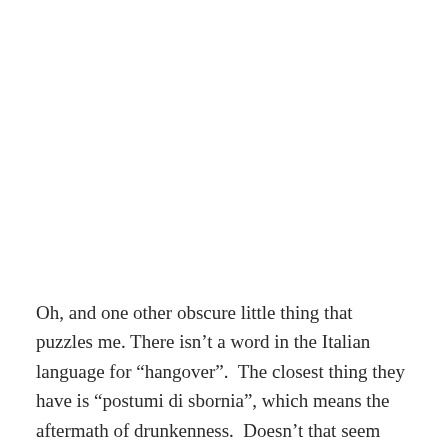Oh, and one other obscure little thing that puzzles me. There isn't a word in the Italian language for “hangover”.  The closest thing they have is “postumi di sbornia”, which means the aftermath of drunkenness.  Doesn’t that seem odd to you?  I will admit I never saw